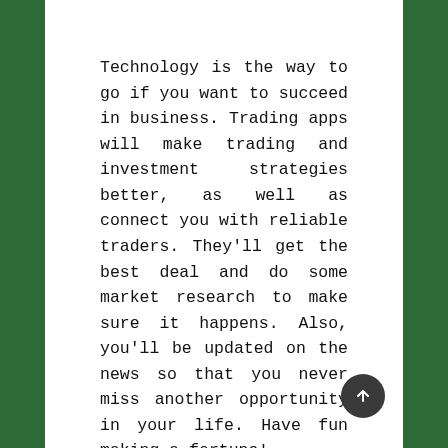Technology is the way to go if you want to succeed in business. Trading apps will make trading and investment strategies better, as well as connect you with reliable traders. They'll get the best deal and do some market research to make sure it happens. Also, you'll be updated on the news so that you never miss another opportunity in your life. Have fun making a fortune!